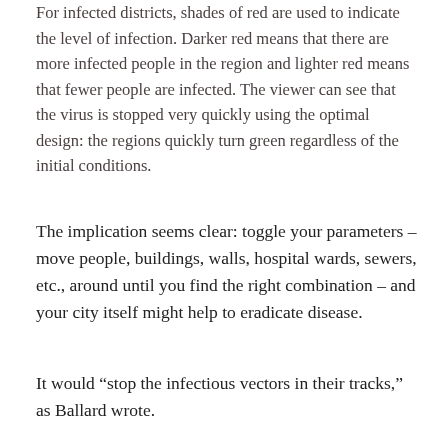For infected districts, shades of red are used to indicate the level of infection. Darker red means that there are more infected people in the region and lighter red means that fewer people are infected. The viewer can see that the virus is stopped very quickly using the optimal design: the regions quickly turn green regardless of the initial conditions.
The implication seems clear: toggle your parameters – move people, buildings, walls, hospital wards, sewers, etc., around until you find the right combination – and your city itself might help to eradicate disease.
It would “stop the infectious vectors in their tracks,” as Ballard wrote.